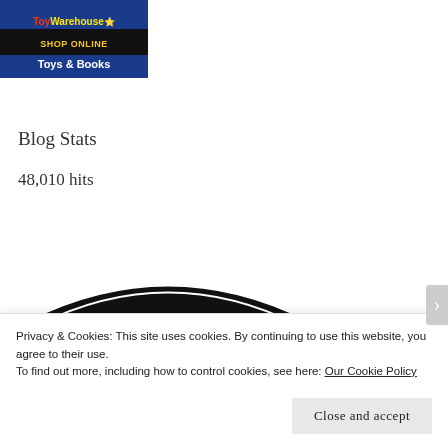[Figure (illustration): Toy Warehouse ad banner: colorful logo at top, black bar with 'SHOP ONLINE' in yellow, blue background with 'Toys & Books' in white bold text]
Blog Stats
48,010 hits
[Figure (logo): Black badge/shield shape with white text: stars and 'Proud member of' in italic, 'THE INTERNET' in large bold white letters]
Privacy & Cookies: This site uses cookies. By continuing to use this website, you agree to their use.
To find out more, including how to control cookies, see here: Our Cookie Policy
Close and accept